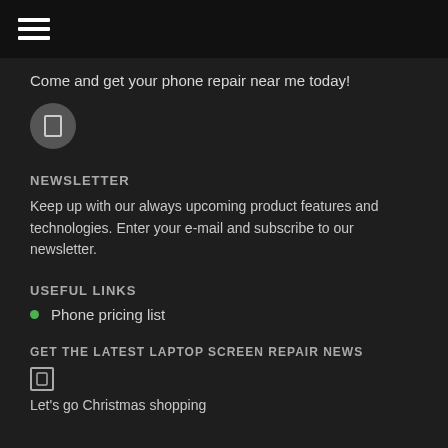☰ (hamburger menu icon)
Come and get your phone repair near me today!
[Figure (other): Circular button with a phone/device icon]
NEWSLETTER
Keep up with our always upcoming product features and technologies. Enter your e-mail and subscribe to our newsletter.
USEFUL LINKS
Phone pricing list
GET THE LATEST LAPTOP SCREEN REPAIR NEWS
[Figure (other): Small square icon]
Let's go Christmas shopping